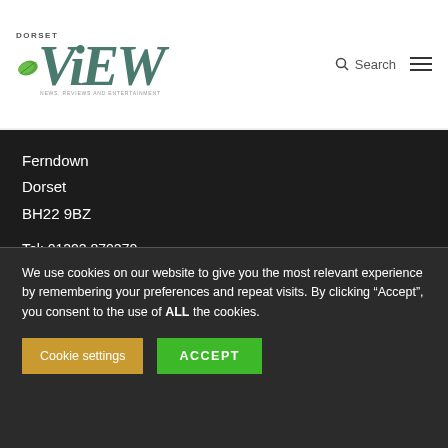[Figure (logo): Dorset View magazine logo with green leaf icon and teal/green 'ViEW' text, tagline 'News, Reviews and Entertainment']
Ferndown
Dorset
BH22 9BZ
Tel: 01202 870270
Email: support@dorsetview.co.uk
[Figure (illustration): Facebook and Twitter social media icons (dark circular buttons)]
We use cookies on our website to give you the most relevant experience by remembering your preferences and repeat visits. By clicking “Accept”, you consent to the use of ALL the cookies.
Cookie settings
ACCEPT